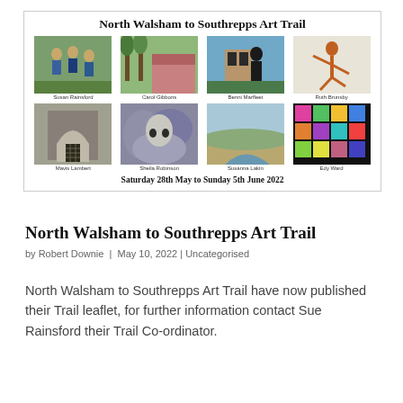[Figure (illustration): North Walsham to Southrepps Art Trail promotional flyer showing 8 artist photos (Susan Rainsford, Carol Gibbons, Benni Marfleet, Ruth Brunsby, Mavis Lambert, Sheila Robinson, Susanna Lakin, Edy Ward) with the event dates Saturday 28th May to Sunday 5th June 2022]
North Walsham to Southrepps Art Trail
by Robert Downie | May 10, 2022 | Uncategorised
North Walsham to Southrepps Art Trail have now published their Trail leaflet, for further information contact Sue Rainsford their Trail Co-ordinator.